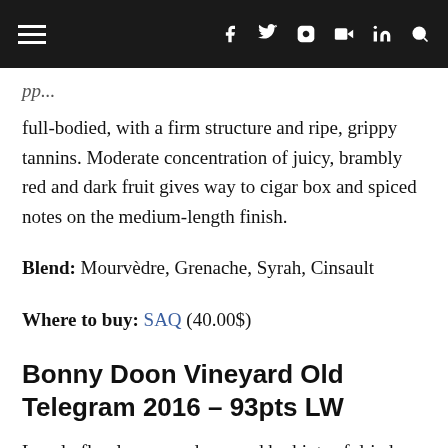≡  f  twitter  instagram  youtube  in  search
full-bodied, with a firm structure and ripe, grippy tannins. Moderate concentration of juicy, brambly red and dark fruit gives way to cigar box and spiced notes on the medium-length finish.
Blend: Mourvèdre, Grenache, Syrah, Cinsault
Where to buy: SAQ (40.00$)
Bonny Doon Vineyard Old Telegram 2016 – 93pts LW
Lovely floral nose, underscored by hints of dried orange peel, fresh cranberries, raspberries, and black cherry. This weighty,